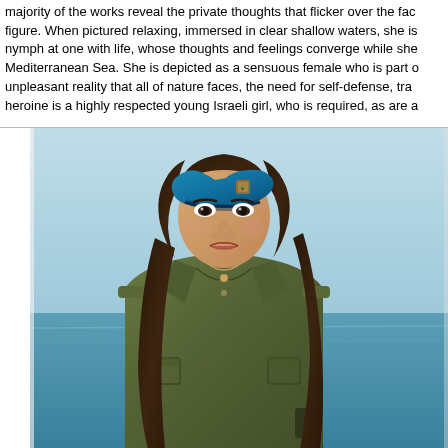majority of the works reveal the private thoughts that flicker over the face of the figure. When pictured relaxing, immersed in clear shallow waters, she is a nymph at one with life, whose thoughts and feelings converge while she... Mediterranean Sea. She is depicted as a sensuous female who is part of... unpleasant reality that all of nature faces, the need for self-defense, tra... heroine is a highly respected young Israeli girl, who is required, as are a...
[Figure (photo): Portrait photograph of a young woman wearing an Israeli military uniform (olive green shirt) and a blue beret with a badge. She has long brown hair and stands against a light blue sky and sea background. She looks directly at the camera with a serious expression.]